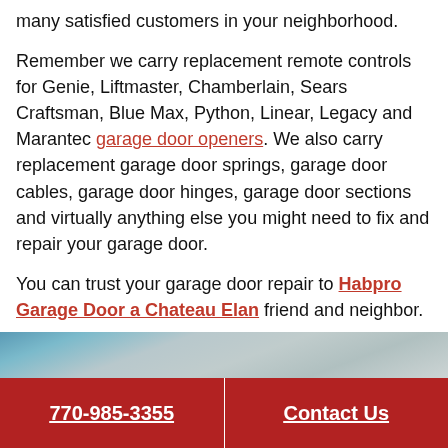many satisfied customers in your neighborhood.
Remember we carry replacement remote controls for Genie, Liftmaster, Chamberlain, Sears Craftsman, Blue Max, Python, Linear, Legacy and Marantec garage door openers. We also carry replacement garage door springs, garage door cables, garage door hinges, garage door sections and virtually anything else you might need to fix and repair your garage door.
You can trust your garage door repair to Habpro Garage Door a Chateau Elan friend and neighbor.
[Figure (photo): Partial view of a garage door, showing horizontal panels and tracks in muted blue-grey tones.]
770-985-3355   Contact Us